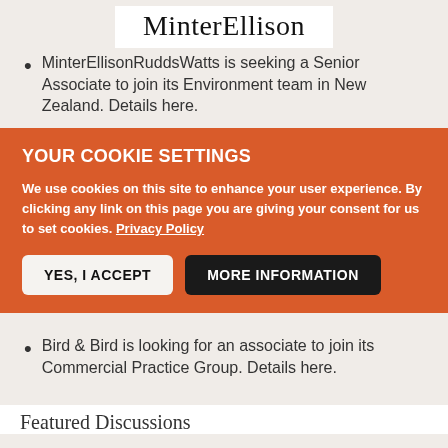[Figure (logo): MinterEllison law firm logo in serif font on white background]
MinterEllisonRuddsWatts is seeking a Senior Associate to join its Environment team in New Zealand. Details here.
YOUR COOKIE SETTINGS
We use cookies on this site to enhance your user experience. By clicking any link on this page you are giving your consent for us to set cookies. Privacy Policy
YES, I ACCEPT
MORE INFORMATION
Bird & Bird is looking for an associate to join its Commercial Practice Group. Details here.
Featured Discussions